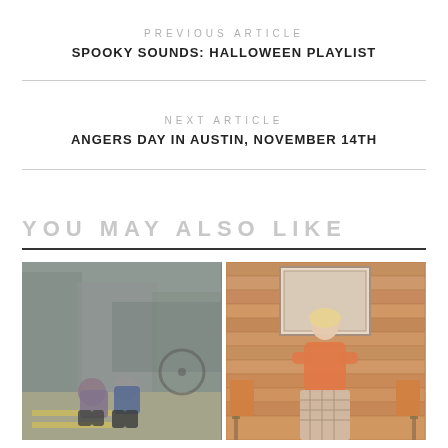PREVIOUS ARTICLE
SPOOKY SOUNDS: HALLOWEEN PLAYLIST
NEXT ARTICLE
ANGERS DAY IN AUSTIN, NOVEMBER 14TH
YOU MAY ALSO LIKE
[Figure (photo): Two young people sitting on a street pavement, urban background with buildings and a bicycle wheel visible. Muted/desaturated tones.]
[Figure (photo): Blonde woman in an orange sweater and plaid skirt standing in a retro-style room with wood-paneled walls, orange lampshades on either side.]